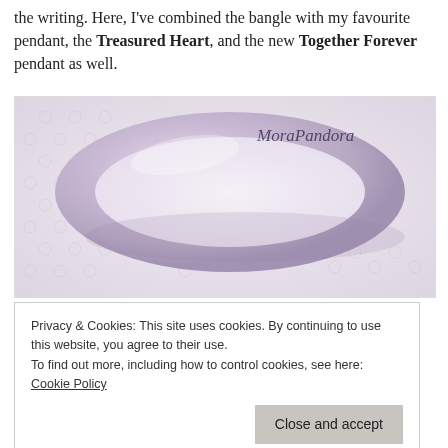the writing. Here, I've combined the bangle with my favourite pendant, the Treasured Heart, and the new Together Forever pendant as well.
[Figure (photo): A silver/rose-gold bangle ring resting on white lace fabric, with a 'Mora Pandora' watermark in script font in the upper right corner.]
Privacy & Cookies: This site uses cookies. By continuing to use this website, you agree to their use.
To find out more, including how to control cookies, see here: Cookie Policy
Close and accept